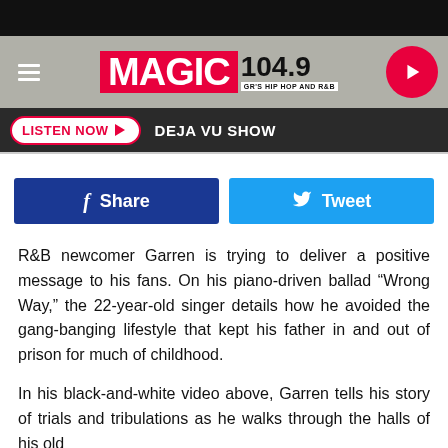[Figure (logo): Magic 104.9 GR's Hip Hop and R&B radio station header banner with hamburger menu, logo, and play button]
[Figure (screenshot): Navigation bar with Listen Now button and Deja Vu Show text]
[Figure (screenshot): Social share buttons: Facebook Share and Twitter Tweet]
R&B newcomer Garren is trying to deliver a positive message to his fans. On his piano-driven ballad “Wrong Way,” the 22-year-old singer details how he avoided the gang-banging lifestyle that kept his father in and out of prison for much of childhood.
In his black-and-white video above, Garren tells his story of trials and tribulations as he walks through the halls of his old